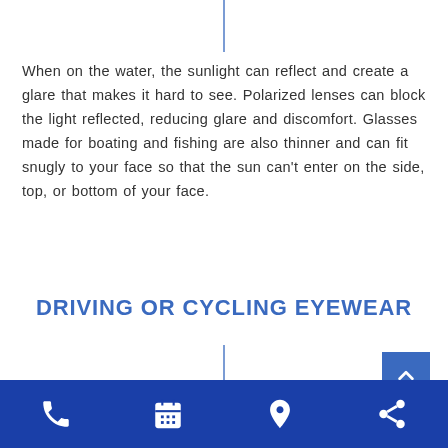When on the water, the sunlight can reflect and create a glare that makes it hard to see. Polarized lenses can block the light reflected, reducing glare and discomfort. Glasses made for boating and fishing are also thinner and can fit snugly to your face so that the sun can't enter on the side, top, or bottom of your face.
DRIVING OR CYCLING EYEWEAR
[Figure (other): Blue vertical divider line at bottom center, scroll-to-top button (blue square with up arrow chevron) at bottom right]
Phone | Calendar | Location | Share icons navigation bar